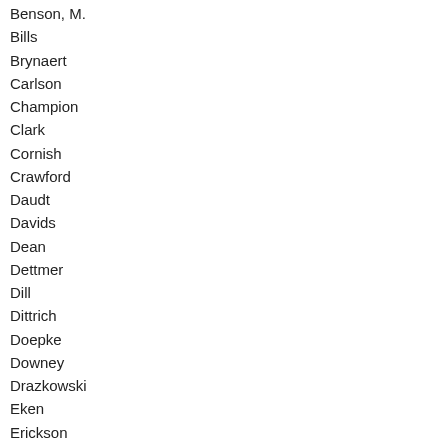Benson, M.
Bills
Brynaert
Carlson
Champion
Clark
Cornish
Crawford
Daudt
Davids
Dean
Dettmer
Dill
Dittrich
Doepke
Downey
Drazkowski
Eken
Erickson
Fabian
Falk
Franson
Fritz
Garofalo
Gottwalt
Greene
Greiling
Gruenhagen
Hackbarth
Hamilton
Hancock
Hansen
Hausman
Hayden
Hilstrom
Hilty
Holberg
Hoppe
Hornstein
Hortman